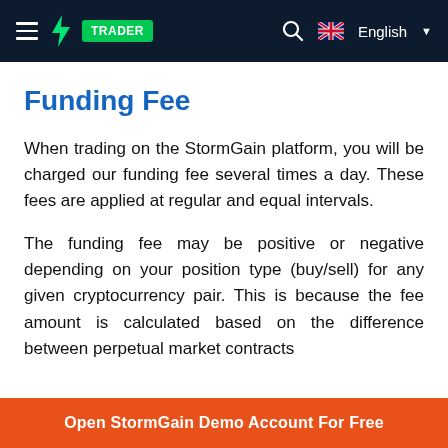StormGain Trader — English
Funding Fee
When trading on the StormGain platform, you will be charged our funding fee several times a day. These fees are applied at regular and equal intervals.
The funding fee may be positive or negative depending on your position type (buy/sell) for any given cryptocurrency pair. This is because the fee amount is calculated based on the difference between perpetual market contracts
Open StormGain Demo Account For Free